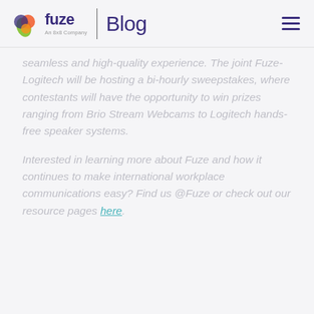fuze | Blog — An 8x8 Company
seamless and high-quality experience. The joint Fuze-Logitech will be hosting a bi-hourly sweepstakes, where contestants will have the opportunity to win prizes ranging from Brio Stream Webcams to Logitech hands-free speaker systems.
Interested in learning more about Fuze and how it continues to make international workplace communications easy? Find us @Fuze or check out our resource pages here.